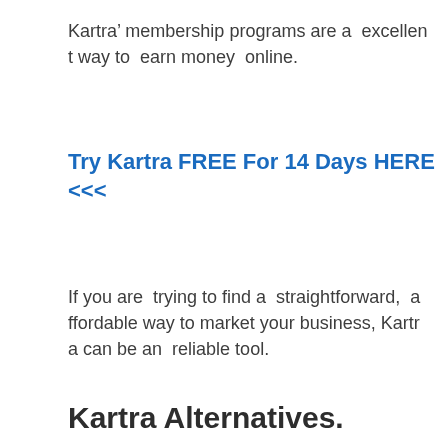Kartra’ membership programs are a  excellent way to  earn money  online.
Try Kartra FREE For 14 Days HERE <<<
If you are  trying to find a  straightforward,  affordable way to market your business, Kartra can be an  reliable tool.
Kartra Alternatives.